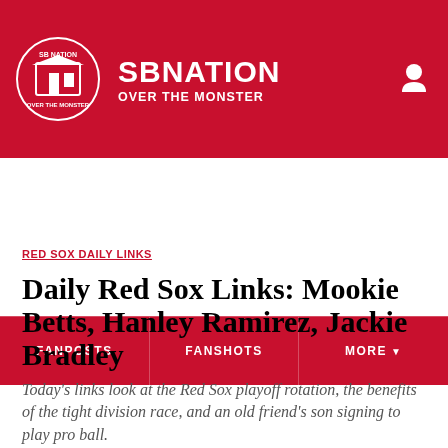SB NATION — OVER THE MONSTER
FANPOSTS | FANSHOTS | MORE
RED SOX DAILY LINKS
Daily Red Sox Links: Mookie Betts, Hanley Ramirez, Jackie Bradley
Today's links look at the Red Sox playoff rotation, the benefits of the tight division race, and an old friend's son signing to play pro ball.
By Matt_Collins | @MattRyCollins | Sep 28, 2017, 7:00am EDT